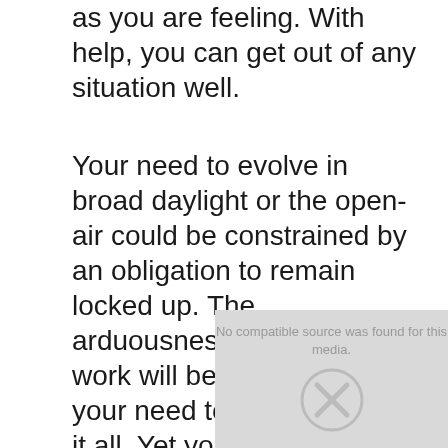as you are feeling. With help, you can get out of any situation well.
Your need to evolve in broad daylight or the open-air could be constrained by an obligation to remain locked up. The arduousness index of your work will be correlated with your need to get away from it all. Yet you are efficient. You are absorbed in your business because it is very rewarding at the moment. You have a good overview of the current markets and you cleverly impose yourself in the areas of greatest profitability.
[Figure (other): Media placeholder box with text 'No compatible source was found for this media.' and an X icon]